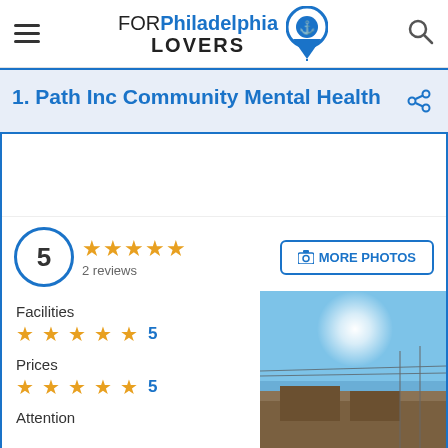FOR Philadelphia LOVERS
1. Path Inc Community Mental Health
5 stars, 2 reviews
MORE PHOTOS
Facilities ★★★★★ 5
Prices ★★★★★ 5
Attention
[Figure (photo): Exterior photo of Path Inc Community Mental Health building with blue sky and sun glare]